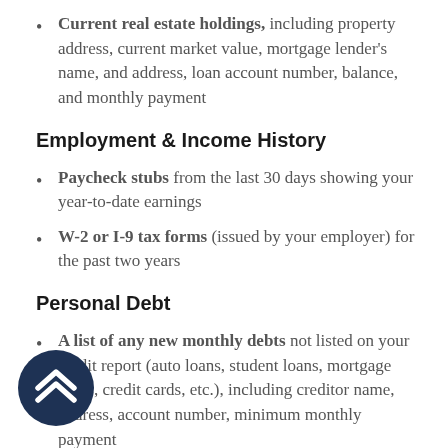Current real estate holdings, including property address, current market value, mortgage lender's name, and address, loan account number, balance, and monthly payment
Employment & Income History
Paycheck stubs from the last 30 days showing your year-to-date earnings
W-2 or I-9 tax forms (issued by your employer) for the past two years
Personal Debt
A list of any new monthly debts not listed on your credit report (auto loans, student loans, mortgage loans, credit cards, etc.), including creditor name, address, account number, minimum monthly payment
[Figure (logo): Circular dark navy logo with white chevron/arrow icon pointing upward, appearing in bottom-left corner]